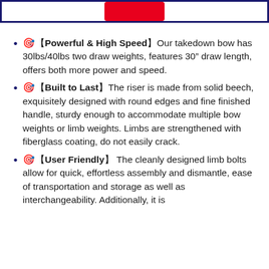🎯【Powerful & High Speed】Our takedown bow has 30lbs/40lbs two draw weights, features 30" draw length, offers both more power and speed.
🎯【Built to Last】The riser is made from solid beech, exquisitely designed with round edges and fine finished handle, sturdy enough to accommodate multiple bow weights or limb weights. Limbs are strengthened with fiberglass coating, do not easily crack.
🎯【User Friendly】 The cleanly designed limb bolts allow for quick, effortless assembly and dismantle, ease of transportation and storage as well as interchangeability. Additionally, it is